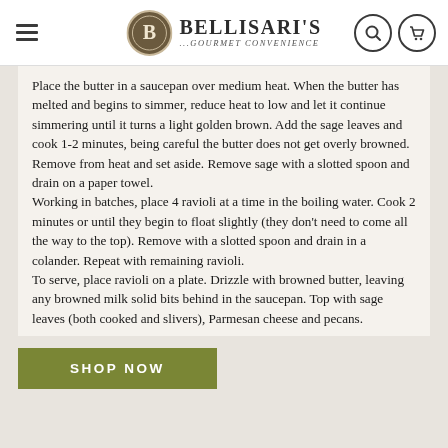BELLISARI'S ...GOURMET CONVENIENCE
Place the butter in a saucepan over medium heat. When the butter has melted and begins to simmer, reduce heat to low and let it continue simmering until it turns a light golden brown. Add the sage leaves and cook 1-2 minutes, being careful the butter does not get overly browned. Remove from heat and set aside. Remove sage with a slotted spoon and drain on a paper towel.
Working in batches, place 4 ravioli at a time in the boiling water. Cook 2 minutes or until they begin to float slightly (they don't need to come all the way to the top). Remove with a slotted spoon and drain in a colander. Repeat with remaining ravioli.
To serve, place ravioli on a plate. Drizzle with browned butter, leaving any browned milk solid bits behind in the saucepan. Top with sage leaves (both cooked and slivers), Parmesan cheese and pecans.
SHOP NOW